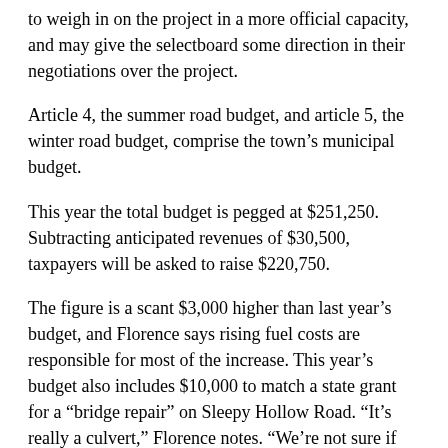to weigh in on the project in a more official capacity, and may give the selectboard some direction in their negotiations over the project.
Article 4, the summer road budget, and article 5, the winter road budget, comprise the town's municipal budget.
This year the total budget is pegged at $251,250. Subtracting anticipated revenues of $30,500, taxpayers will be asked to raise $220,750.
The figure is a scant $3,000 higher than last year's budget, and Florence says rising fuel costs are responsible for most of the increase. This year's budget also includes $10,000 to match a state grant for a “bridge repair” on Sleepy Hollow Road. “It’s really a culvert,” Florence notes. “We’re not sure if that will happen this year, but we’re putting bids out.”
In conjunction with the repair, Florence said, the town may review the closure of a section of Sleepy Hollow